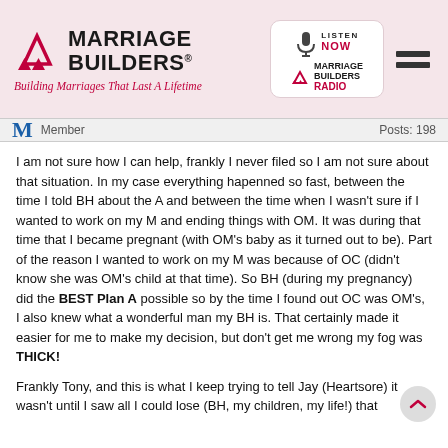[Figure (logo): Marriage Builders logo with red triangle arrows and tagline 'Building Marriages That Last A Lifetime', alongside Marriage Builders Radio badge and hamburger menu icon]
Member   Posts: 198
I am not sure how I can help, frankly I never filed so I am not sure about that situation. In my case everything hapenned so fast, between the time I told BH about the A and between the time when I wasn't sure if I wanted to work on my M and ending things with OM. It was during that time that I became pregnant (with OM's baby as it turned out to be). Part of the reason I wanted to work on my M was because of OC (didn't know she was OM's child at that time). So BH (during my pregnancy) did the BEST Plan A possible so by the time I found out OC was OM's, I also knew what a wonderful man my BH is. That certainly made it easier for me to make my decision, but don't get me wrong my fog was THICK!
Frankly Tony, and this is what I keep trying to tell Jay (Heartsore) it wasn't until I saw all I could lose (BH, my children, my life!) that